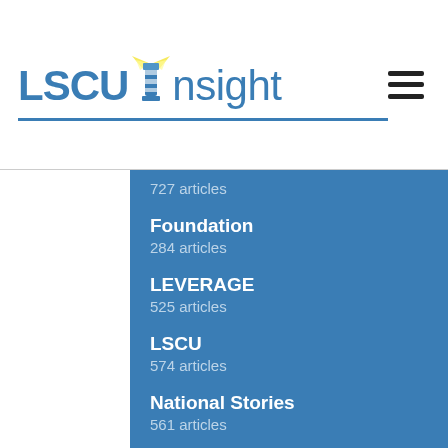LSCU Insight
727 articles
Foundation
284 articles
LEVERAGE
525 articles
LSCU
574 articles
National Stories
561 articles
Top News Stories
2207 articles
Uncategorized